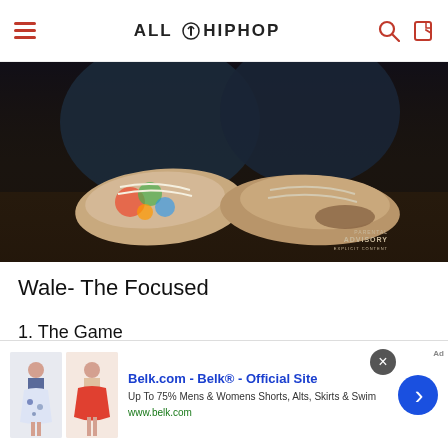ALL HIP HOP
[Figure (photo): Close-up photo of a person's colorful sneakers/shoes, dark moody lighting, with a Parental Advisory label visible in the bottom right corner]
Wale- The Focused
1. The Game
2. The Setup
[Figure (other): Advertisement banner: Belk.com - Belk® - Official Site. Up To 75% Mens & Womens Shorts, Alts, Skirts & Swim. www.belk.com. Shows images of skirts/shorts.]